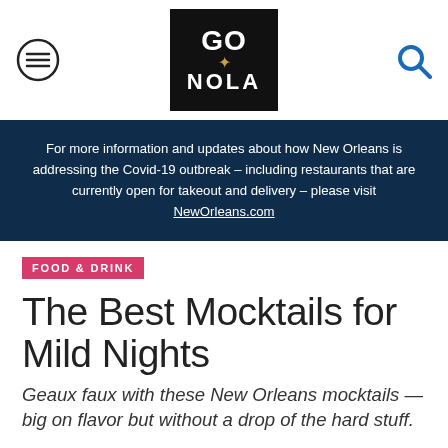GO NOLA
For more information and updates about how New Orleans is addressing the Covid-19 outbreak – including restaurants that are currently open for takeout and delivery – please visit NewOrleans.com
FOOD & DRINK
The Best Mocktails for Mild Nights
Geaux faux with these New Orleans mocktails — big on flavor but without a drop of the hard stuff.